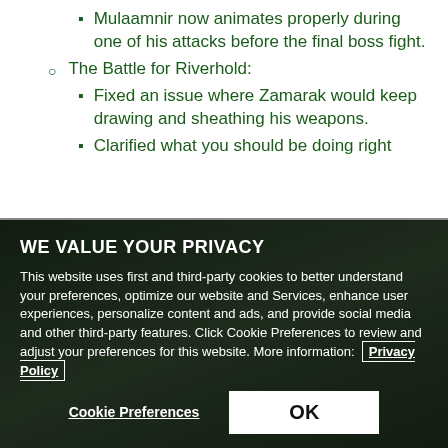Mulaamnir now animates properly during one of his attacks before the final boss fight.
The Battle for Riverhold:
Fixed an issue where Zamarak would keep drawing and sheathing his weapons.
Clarified what you should be doing right
WE VALUE YOUR PRIVACY
This website uses first and third-party cookies to better understand your preferences, optimize our website and Services, enhance user experiences, personalize content and ads, and provide social media and other third-party features. Click Cookie Preferences to review and adjust your preferences for this website. More information:  Privacy Policy
Cookie Preferences    OK